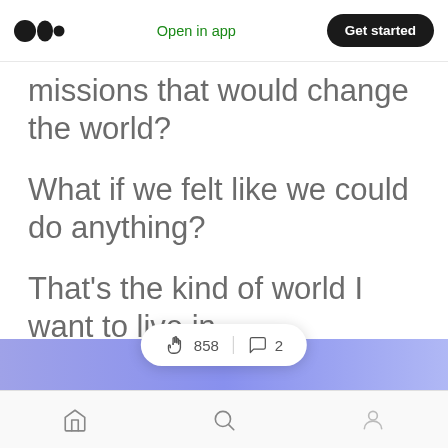Open in app | Get started
missions that would change the world?
What if we felt like we could do anything?
That’s the kind of world I want to live in.
[Figure (infographic): Engagement bar showing 858 claps and 2 comments, with a blue-purple gradient banner below]
Home | Search | Profile